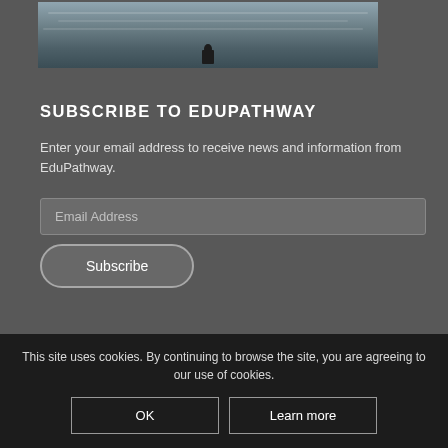[Figure (photo): Person standing on rocky shoreline with rough water/waves in background, cropped photo strip at top of page]
SUBSCRIBE TO EDUPATHWAY
Enter your email address to receive news and information from EduPathway.
Email Address
Subscribe
FOLLOW US
[Figure (illustration): Social media icons - Facebook and Instagram circle icons]
This site uses cookies. By continuing to browse the site, you are agreeing to our use of cookies.
OK
Learn more